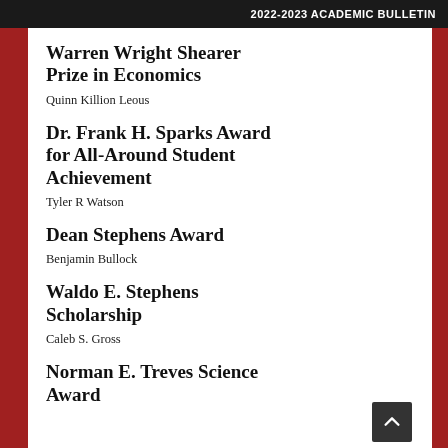2022-2023 ACADEMIC BULLETIN
Warren Wright Shearer Prize in Economics
Quinn Killion Leous
Dr. Frank H. Sparks Award for All-Around Student Achievement
Tyler R Watson
Dean Stephens Award
Benjamin Bullock
Waldo E. Stephens Scholarship
Caleb S. Gross
Norman E. Treves Science Award